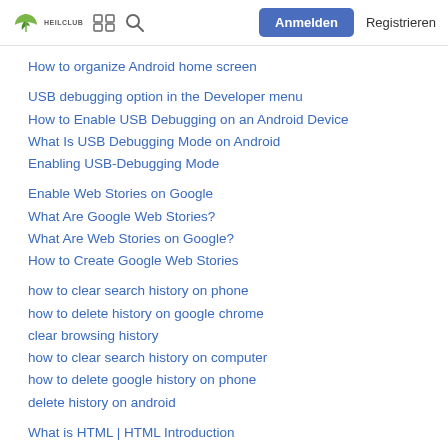HEILCLUB | Anmelden | Registrieren
How to organize Android home screen
USB debugging option in the Developer menu
How to Enable USB Debugging on an Android Device
What Is USB Debugging Mode on Android
Enabling USB-Debugging Mode
Enable Web Stories on Google
What Are Google Web Stories?
What Are Web Stories on Google?
How to Create Google Web Stories
how to clear search history on phone
how to delete history on google chrome
clear browsing history
how to clear search history on computer
how to delete google history on phone
delete history on android
What is HTML | HTML Introduction